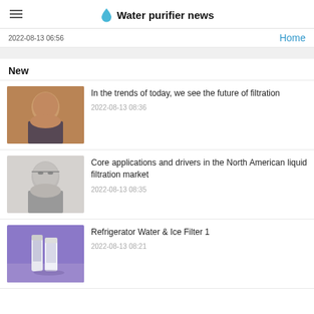Water purifier news
2022-08-13 06:56
Home
New
In the trends of today, we see the future of filtration
2022-08-13 08:36
Core applications and drivers in the North American liquid filtration market
2022-08-13 08:35
Refrigerator Water & Ice Filter 1
2022-08-13 08:21